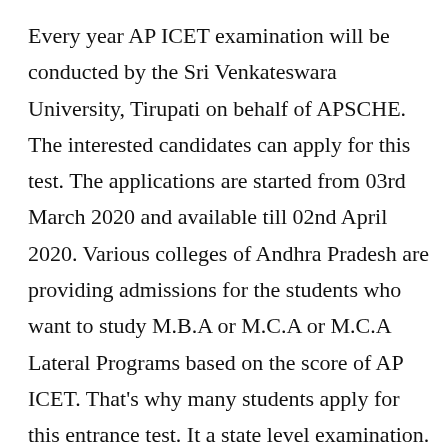Every year AP ICET examination will be conducted by the Sri Venkateswara University, Tirupati on behalf of APSCHE. The interested candidates can apply for this test. The applications are started from 03rd March 2020 and available till 02nd April 2020. Various colleges of Andhra Pradesh are providing admissions for the students who want to study M.B.A or M.C.A or M.C.A Lateral Programs based on the score of AP ICET. That's why many students apply for this entrance test. It a state level examination. This year a large number of interested candidates have applied. The aspirants should have a look at the official notification announced by the officials of The Sri Venkateswara University, Tirupati. The notification of